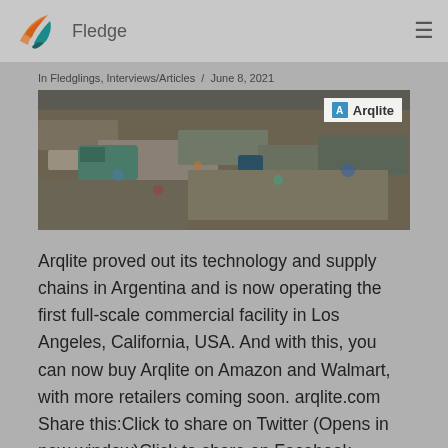Fledge
In Fledglings, Interviews/Articles / June 8, 2021
[Figure (photo): Aerial view of a waste/recycling facility with mixed garbage and vehicles, with an Arqlite logo badge in the top right corner]
Arqlite proved out its technology and supply chains in Argentina and is now operating the first full-scale commercial facility in Los Angeles, California, USA. And with this, you can now buy Arqlite on Amazon and Walmart, with more retailers coming soon. arqlite.com Share this:Click to share on Twitter (Opens in new window)Click to share on Facebook (Opens in